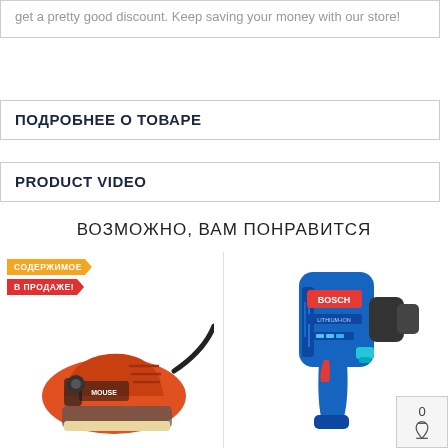get a pretty good discount. Keep saving your money with our store!
ПОДРОБНЕЕ О ТОВАРЕ
PRODUCT VIDEO
ВОЗМОЖНО, ВАМ ПОНРАВИТСЯ
[Figure (photo): Black & Decker Mouse orange electric sander with cord, badges: СОДЕРЖИМОЕ and В ПРОДАЖЕ!]
[Figure (photo): Bosch blue cordless impact driver / screwdriver with red accent]